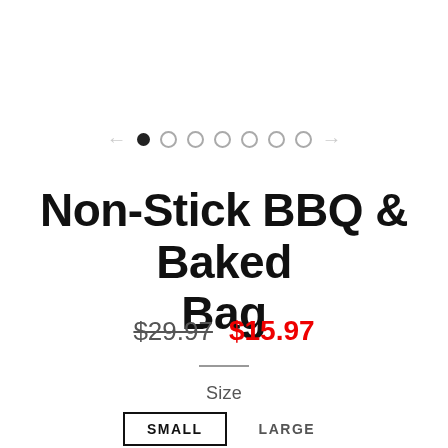[Figure (other): Carousel navigation indicator with left arrow, one filled dot and six empty dots, and right arrow]
Non-Stick BBQ & Baked Bag
$29.97  $15.97
Size
SMALL   LARGE